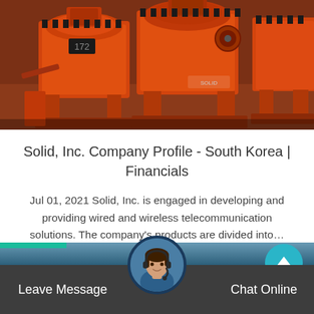[Figure (photo): Large orange industrial mining/grinding machinery equipment in a warehouse or factory setting]
Solid, Inc. Company Profile - South Korea | Financials
Jul 01, 2021 Solid, Inc. is engaged in developing and providing wired and wireless telecommunication solutions. The company's products are divided into…
[Figure (photo): Chat support agent avatar - woman wearing headset, circular profile photo]
Leave Message   Chat Online